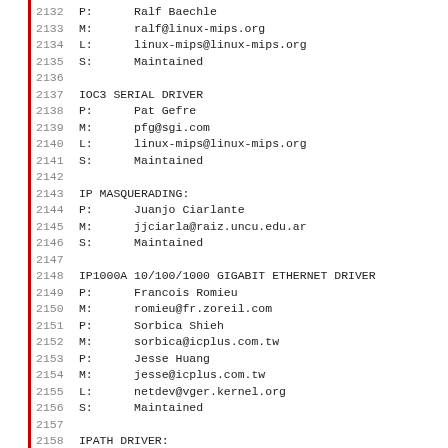2132 P:      Ralf Baechle
2133 M:      ralf@linux-mips.org
2134 L:      linux-mips@linux-mips.org
2135 S:      Maintained
2136
2137 IOC3 SERIAL DRIVER
2138 P:      Pat Gefre
2139 M:      pfg@sgi.com
2140 L:      linux-mips@linux-mips.org
2141 S:      Maintained
2142
2143 IP MASQUERADING:
2144 P:      Juanjo Ciarlante
2145 M:      jjciarla@raiz.uncu.edu.ar
2146 S:      Maintained
2147
2148 IP1000A 10/100/1000 GIGABIT ETHERNET DRIVER
2149 P:      Francois Romieu
2150 M:      romieu@fr.zoreil.com
2151 P:      Sorbica Shieh
2152 M:      sorbica@icplus.com.tw
2153 P:      Jesse Huang
2154 M:      jesse@icplus.com.tw
2155 L:      netdev@vger.kernel.org
2156 S:      Maintained
2157
2158 IPATH DRIVER:
2159 P:      Ralph Campbell
2160 M:      infinipath@qlogic.com
2161 L:      general@lists.openfabrics.org
2162 T:      git git://git.qlogic.com/ipath-linux-2.6
2163 S:      Supported